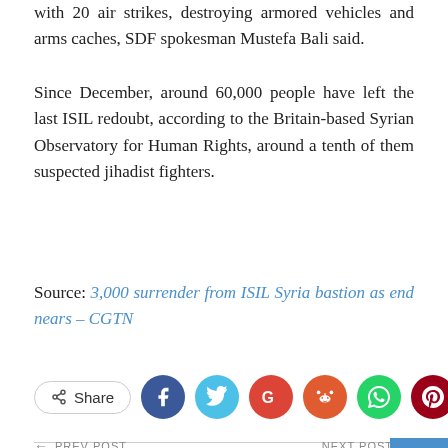with 20 air strikes, destroying armored vehicles and arms caches, SDF spokesman Mustefa Bali said.
Since December, around 60,000 people have left the last ISIL redoubt, according to the Britain-based Syrian Observatory for Human Rights, around a tenth of them suspected jihadist fighters.
Source: 3,000 surrender from ISIL Syria bastion as end nears – CGTN
[Figure (other): Social share buttons: Share, Facebook, Twitter, Google+, Reddit, WhatsApp, Pinterest, Email]
← PREV POST | NEXT POST →
3,000 surrender from IS Syria bastion as end nears
Besieged Islamic State ranks call on followers